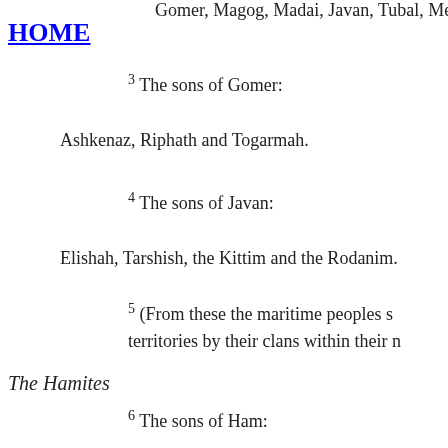Gomer, Magog, Madai, Javan, Tubal, Meshech
HOME
3 The sons of Gomer:
Ashkenaz, Riphath and Togarmah.
4 The sons of Javan:
Elishah, Tarshish, the Kittim and the Rodanim.
5 (From these the maritime peoples spread out into their territories by their clans within their nations
The Hamites
6 The sons of Ham:
Cush, Mizraim, Put and Canaan.
7 The sons of Cush: